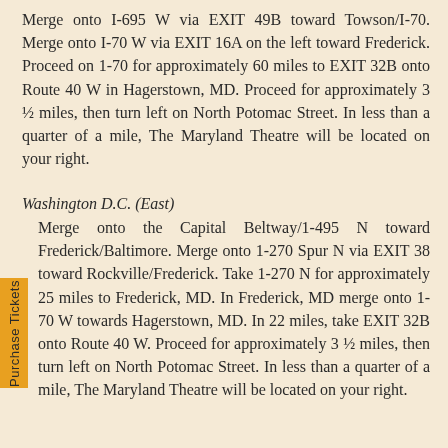Merge onto I-695 W via EXIT 49B toward Towson/I-70. Merge onto I-70 W via EXIT 16A on the left toward Frederick. Proceed on 1-70 for approximately 60 miles to EXIT 32B onto Route 40 W in Hagerstown, MD. Proceed for approximately 3 ½ miles, then turn left on North Potomac Street. In less than a quarter of a mile, The Maryland Theatre will be located on your right.
Washington D.C. (East)
Merge onto the Capital Beltway/1-495 N toward Frederick/Baltimore. Merge onto 1-270 Spur N via EXIT 38 toward Rockville/Frederick. Take 1-270 N for approximately 25 miles to Frederick, MD. In Frederick, MD merge onto 1-70 W towards Hagerstown, MD. In 22 miles, take EXIT 32B onto Route 40 W. Proceed for approximately 3 ½ miles, then turn left on North Potomac Street. In less than a quarter of a mile, The Maryland Theatre will be located on your right.